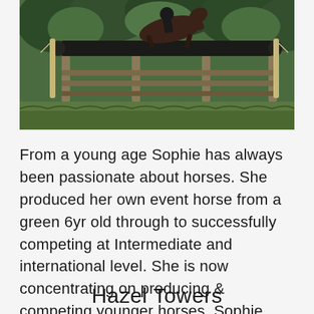[Figure (photo): A horse and rider jumping over a large cross-country fence/log obstacle with wooden post-and-rail fencing in the background and green trees/vegetation.]
From a young age Sophie has always been passionate about horses. She produced her own event horse from a green 6yr old through to successfully competing at Intermediate and international level. She is now concentrating on producing & competing younger horses. Sophie was fortunate enough to be able to set up her own yard where she ... Read more
Hazel Towers